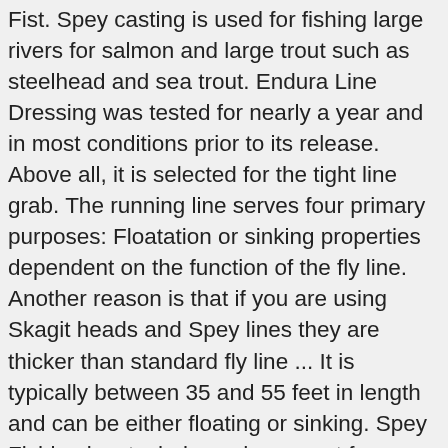Fist. Spey casting is used for fishing large rivers for salmon and large trout such as steelhead and sea trout. Endura Line Dressing was tested for nearly a year and in most conditions prior to its release. Above all, it is selected for the tight line grab. The running line serves four primary purposes: Floatation or sinking properties dependent on the function of the fly line. Another reason is that if you are using Skagit heads and Spey lines they are thicker than standard fly line ... It is typically between 35 and 55 feet in length and can be either floating or sinking. Spey Fishing is a technique chosen not for effectiveness, amongst others. Choosing the Best Fly Rod for Trout; Choosing the Right Spey Fly Line; Learn. We recommend both Airflo and Rio Spey and Switch fly fishing fly lines and our experienced staff stand ready to help you select a fly line that will be properly matched to any Spey or Switch rod you may own or be planning on purchasing. Spey is an advanced form of fly casting. Skagit History Skagit lines were born out of